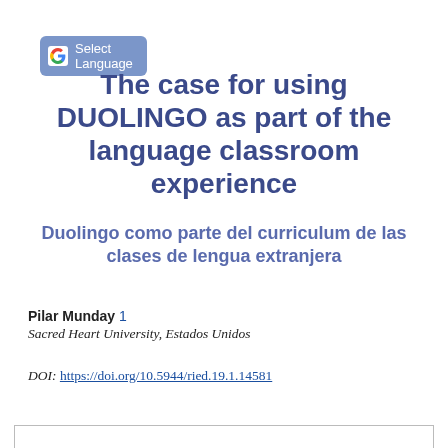[Figure (logo): Google Translate 'Select Language' button with Google G logo on blue-grey background]
The case for using DUOLINGO as part of the language classroom experience
Duolingo como parte del curriculum de las clases de lengua extranjera
Pilar Munday 1
Sacred Heart University, Estados Unidos
DOI: https://doi.org/10.5944/ried.19.1.14581